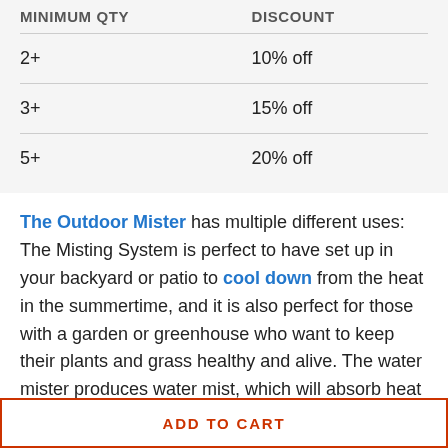| MINIMUM QTY | DISCOUNT |
| --- | --- |
| 2+ | 10% off |
| 3+ | 15% off |
| 5+ | 20% off |
The Outdoor Mister has multiple different uses: The Misting System is perfect to have set up in your backyard or patio to cool down from the heat in the summertime, and it is also perfect for those with a garden or greenhouse who want to keep their plants and grass healthy and alive. The water mister produces water mist, which will absorb heat from the outdoor surroundings in the hot summer days. Unlike any other patio mister, our system cools down
ADD TO CART